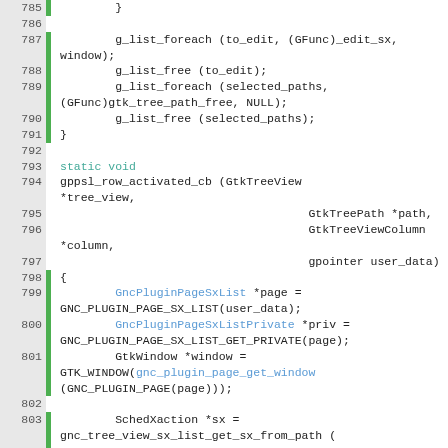[Figure (screenshot): Source code viewer showing C code lines 785-806, with line numbers on the left, green coverage bars, and syntax highlighting. Code shows functions gppsl_row_activated_cb and related GLib/GTK code.]